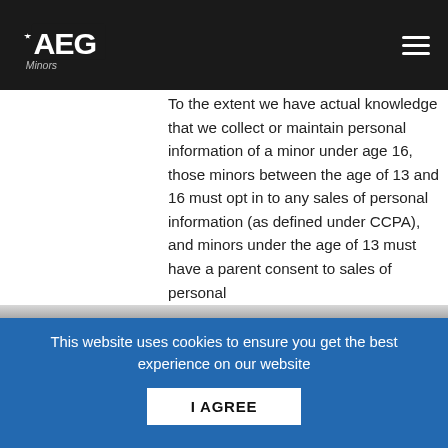AEG — Minors (privacy policy page header)
Minors
To the extent we have actual knowledge that we collect or maintain personal information of a minor under age 16, those minors between the age of 13 and 16 must opt in to any sales of personal information (as defined under CCPA), and minors under the age of 13 must have a parent consent to sales of personal
This website uses cookies to ensure you get the best experience on our website
I AGREE